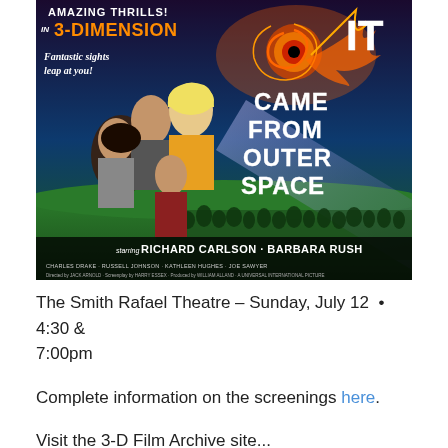[Figure (illustration): Vintage movie poster for 'It Came From Outer Space' in 3-Dimension. Shows text 'AMAZING THRILLS! IN 3-DIMENSION' in orange letters, 'Fantastic sights leap at you!' in white italic text, 'IT CAME FROM OUTER SPACE' in large white letters on right side, starring figures of frightened people looking upward at a swirling alien eye/tentacle creature. Bottom credits: 'Starring RICHARD CARLSON · BARBARA RUSH' and smaller text listing CHARLES DRAKE, RUSSELL JOHNSON, KATHLEEN HUGHES, JOE SAWYER. Background shows green alien landscape with crowd.]
The Smith Rafael Theatre – Sunday, July 12  •  4:30 & 7:00pm
Complete information on the screenings here.
Visit the 3-D Film Archive site...